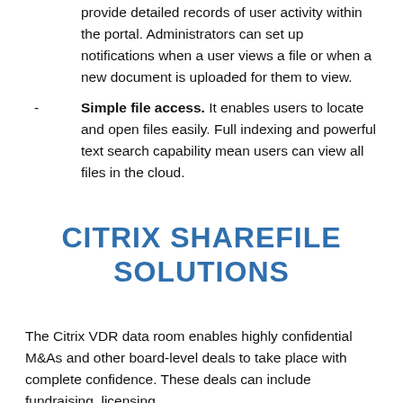provide detailed records of user activity within the portal. Administrators can set up notifications when a user views a file or when a new document is uploaded for them to view.
Simple file access. It enables users to locate and open files easily. Full indexing and powerful text search capability mean users can view all files in the cloud.
CITRIX SHAREFILE SOLUTIONS
The Citrix VDR data room enables highly confidential M&As and other board-level deals to take place with complete confidence. These deals can include fundraising, licensing